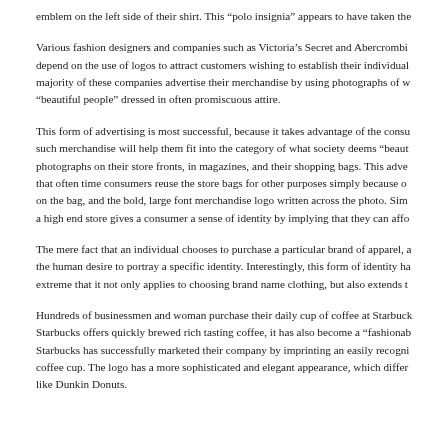emblem on the left side of their shirt. This “polo insignia” appears to have taken the
Various fashion designers and companies such as Victoria’s Secret and Abercromb… depend on the use of logos to attract customers wishing to establish their individu… majority of these companies advertise their merchandise by using photographs of w… “beautiful people” dressed in often promiscuous attire.
This form of advertising is most successful, because it takes advantage of the consu… such merchandise will help them fit into the category of what society deems “beaut… photographs on their store fronts, in magazines, and their shopping bags. This adve… that often time consumers reuse the store bags for other purposes simply because o… on the bag, and the bold, large font merchandise logo written across the photo. Sim… a high end store gives a consumer a sense of identity by implying that they can affo…
The mere fact that an individual chooses to purchase a particular brand of apparel, … the human desire to portray a specific identity. Interestingly, this form of identity ha… extreme that it not only applies to choosing brand name clothing, but also extends t…
Hundreds of businessmen and woman purchase their daily cup of coffee at Starbuck… Starbucks offers quickly brewed rich tasting coffee, it has also become a “fashionab… Starbucks has successfully marketed their company by imprinting an easily recogni… coffee cup. The logo has a more sophisticated and elegant appearance, which differ… like Dunkin Donuts.